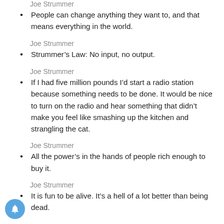Joe Strummer
People can change anything they want to, and that means everything in the world.
Joe Strummer
Strummer’s Law: No input, no output.
Joe Strummer
If I had five million pounds I’d start a radio station because something needs to be done. It would be nice to turn on the radio and hear something that didn’t make you feel like smashing up the kitchen and strangling the cat.
Joe Strummer
All the power’s in the hands of people rich enough to buy it.
Joe Strummer
It is fun to be alive. It’s a hell of a lot better than being dead.